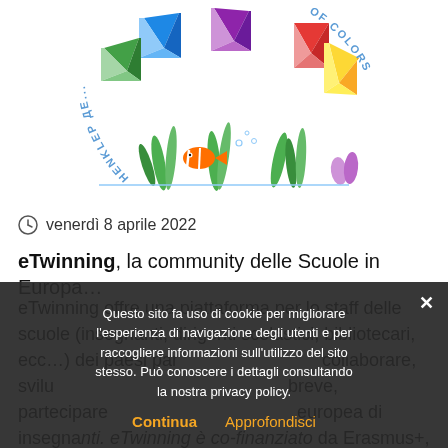[Figure (illustration): Colorful origami paper shapes (boats/envelopes) in red, green, yellow, blue, purple arranged in a circle with text 'HENKLЕР ДЕ... OF COLORS' around them, and underwater scene with fish and seaweed below.]
venerdì 8 aprile 2022
eTwinning, la community delle Scuole in Europa…
eTwinning offre una piattaforma per lo staff delle scuole (insegnanti, dirigenti scolastici, bibliotecari, ecc…) dei paesi partecipanti. Fa costruire e collaborare, sviluppare, in breve, partecipare europea di insegnanti. eTwinning è co-finanziato da Erasmus+, il Programma europeo per l'Istruzione,
Questo sito fa uso di cookie per migliorare l'esperienza di navigazione degli utenti e per raccogliere informazioni sull'utilizzo del sito stesso. Può conoscere i dettagli consultando la nostra privacy policy.
Continua   Approfondisci